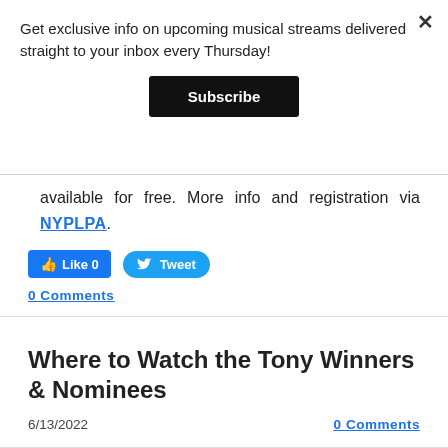Get exclusive info on upcoming musical streams delivered straight to your inbox every Thursday!
Subscribe
available for free. More info and registration via NYPLPA.
[Figure (infographic): Facebook Like button showing count 0 and Twitter Tweet button]
0 Comments
Where to Watch the Tony Winners & Nominees
6/13/2022
0 Comments